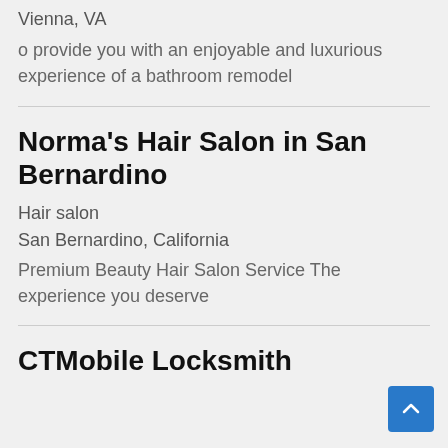Vienna, VA
o provide you with an enjoyable and luxurious experience of a bathroom remodel
Norma's Hair Salon in San Bernardino
Hair salon
San Bernardino, California
Premium Beauty Hair Salon Service The experience you deserve
CTMobile Locksmith